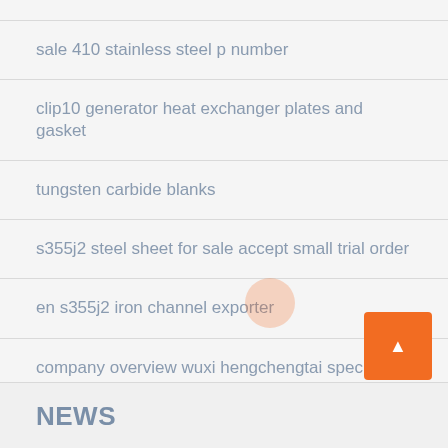sale 410 stainless steel p number
clip10 generator heat exchanger plates and gasket
tungsten carbide blanks
s355j2 steel sheet for sale accept small trial order
en s355j2 iron channel exporter
company overview wuxi hengchengtai special steel
NEWS